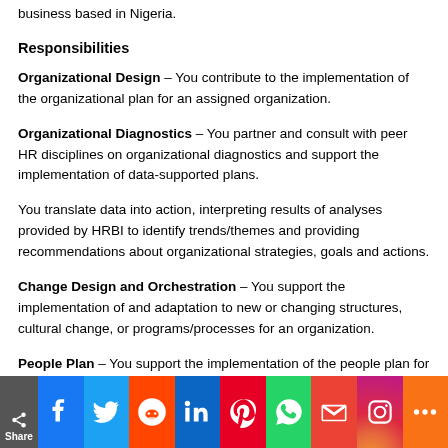business based in Nigeria.
Responsibilities
Organizational Design – You contribute to the implementation of the organizational plan for an assigned organization.
Organizational Diagnostics – You partner and consult with peer HR disciplines on organizational diagnostics and support the implementation of data-supported plans.
You translate data into action, interpreting results of analyses provided by HRBI to identify trends/themes and providing recommendations about organizational strategies, goals and actions.
Change Design and Orchestration – You support the implementation of and adaptation to new or changing structures, cultural change, or programs/processes for an organization.
People Plan – You support the implementation of the people plan for an assigned organization. You lead the implementation of the people priorities (e.g., performance management,
[Figure (infographic): Social sharing bar with icons: Share label, Facebook, Twitter, Reddit, LinkedIn, Pinterest, WhatsApp, Gmail, Instagram, More]